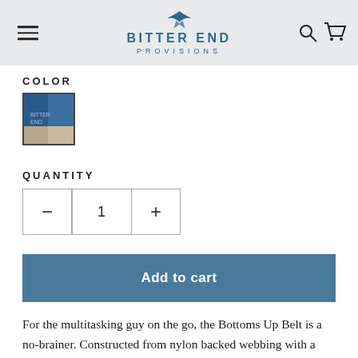BITTER END PROVISIONS
COLOR
[Figure (photo): Color swatch thumbnail showing blue/navy product]
QUANTITY
- 1 +
Add to cart
For the multitasking guy on the go, the Bottoms Up Belt is a no-brainer. Constructed from nylon backed webbing with a stainless steel buckle, this belt will